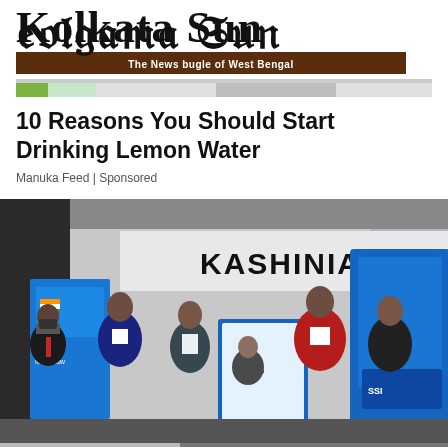Kolkata Sun — The News bugle of West Bengal
10 Reasons You Should Start Drinking Lemon Water
Manuka Feed | Sponsored
[Figure (photo): Group of men standing indoors at what appears to be an official event. A banner reading 'KASHINIA' (partially visible) is in the background. A blue kiosk/ATM-like structure is on the right. A framed certificate or plaque is being displayed. Men are dressed in formal and traditional Indian attire.]